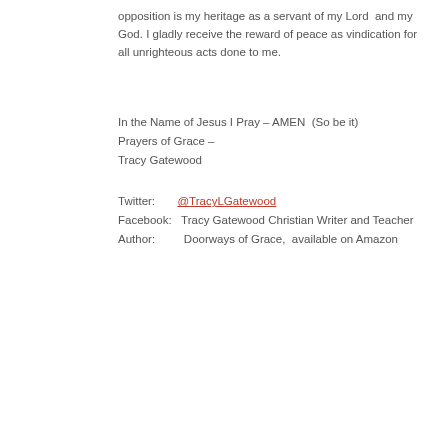opposition is my heritage as a servant of my Lord  and my God. I gladly receive the reward of peace as vindication for all unrighteous acts done to me.
In the Name of Jesus I Pray – AMEN  (So be it)
Prayers of Grace –
Tracy Gatewood
Twitter:       @TracyLGatewood
Facebook:   Tracy Gatewood Christian Writer and Teacher
Author:          Doorways of Grace,  available on Amazon